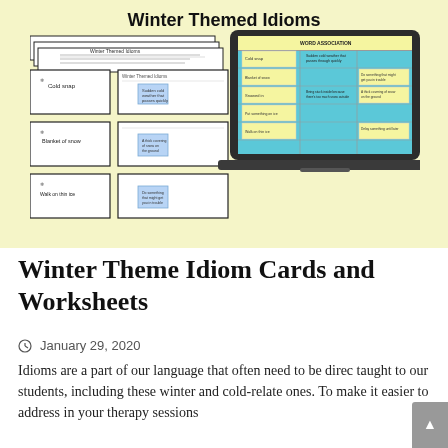[Figure (illustration): Yellow-background banner showing 'Winter Themed Idioms' title above an illustration of flashcards/worksheets and a laptop displaying a winter idioms matching activity with a teal/blue grid layout.]
Winter Theme Idiom Cards and Worksheets
January 29, 2020
Idioms are a part of our language that often need to be directly taught to our students, including these winter and cold-related ones. To make it easier to address in your therapy sessions